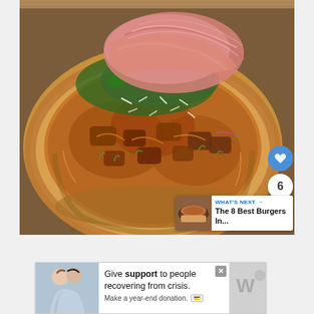[Figure (photo): Close-up photo of a flatbread pizza topped with prosciutto, arugula, shredded parmesan, roasted chicken pieces, microgreens, and caramelized onions. The crust is golden and thick. Overlaid on the image are a blue heart/like button, a count badge showing '6', and a share button. A 'WHAT'S NEXT' overlay in the bottom-right shows a thumbnail of a burger with text 'The 8 Best Burgers In...']
[Figure (photo): Advertisement banner showing a couple embracing on the left side, with text 'Give support to people recovering from crisis. Make a year-end donation.' and a payment icon, plus a close button. Right side has a partially visible logo/icon.]